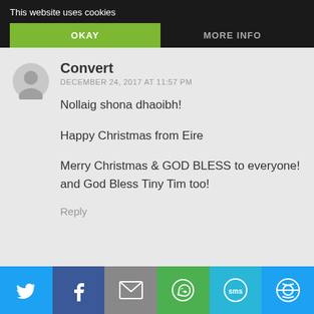This website uses cookies
OKAY
MORE INFO
Convert
DECEMBER 24, 2017 AT 11:57 PM
Nollaig shona dhaoibh!

Happy Christmas from Eire

Merry Christmas & GOD BLESS to everyone! and God Bless Tiny Tim too!
Reply
[Figure (infographic): Social share bar with Twitter, Facebook, Email, WhatsApp, SMS, and another share icon buttons]